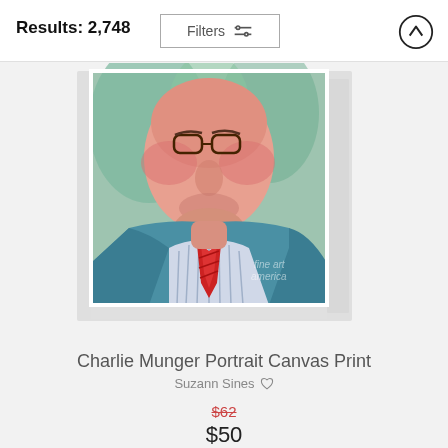Results: 2,748
Filters
[Figure (photo): Canvas print of a colorful painted portrait of Charlie Munger wearing a blue suit jacket, striped shirt, and red tie, displayed as a wrapped canvas with a white border and Fine Art America watermark.]
Charlie Munger Portrait Canvas Print
Suzann Sines
$62
$50